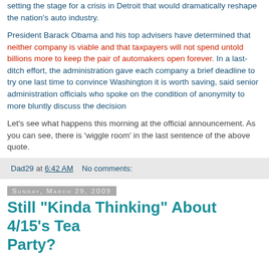setting the stage for a crisis in Detroit that would dramatically reshape the nation's auto industry.
President Barack Obama and his top advisers have determined that neither company is viable and that taxpayers will not spend untold billions more to keep the pair of automakers open forever. In a last-ditch effort, the administration gave each company a brief deadline to try one last time to convince Washington it is worth saving, said senior administration officials who spoke on the condition of anonymity to more bluntly discuss the decision
Let's see what happens this morning at the official announcement. As you can see, there is 'wiggle room' in the last sentence of the above quote.
Dad29 at 6:42 AM   No comments:
Sunday, March 29, 2009
Still "Kinda Thinking" About 4/15's Tea Party?